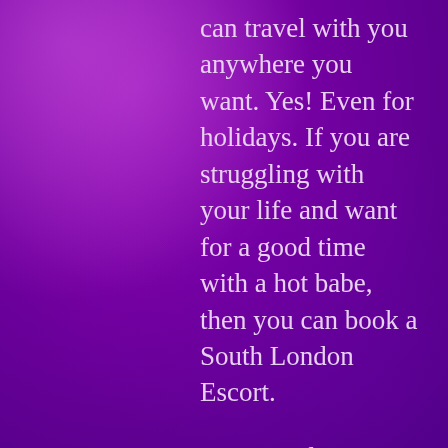can travel with you anywhere you want. Yes! Even for holidays. If you are struggling with your life and want for a good time with a hot babe, then you can book a South London Escort.
You can plan a holiday and if you are not sure about planning a holiday then we can plan it for you. If you are busy and you do not have time for going anywhere, then we can plan your vacation here. We will book you a hotel of your desire and some sightseeing, so that you can completely enjoy your life with a south London escort.